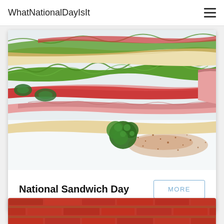WhatNationalDayIsIt
[Figure (photo): Close-up photo of a club sandwich with ham, tomato, lettuce, cucumber, and parsley garnish with paprika spice scattered on a white surface]
National Sandwich Day
MORE
[Figure (photo): Partial view of a brick wall, bottom of page]